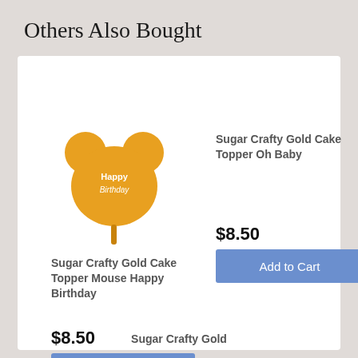Others Also Bought
[Figure (illustration): Gold Mickey Mouse shaped cake topper with Happy Birthday text]
Sugar Crafty Gold Cake Topper Mouse Happy Birthday
$8.50
Add to Cart
Sugar Crafty Gold Cake Topper Oh Baby
$8.50
Add to Cart
Sugar Crafty Gold